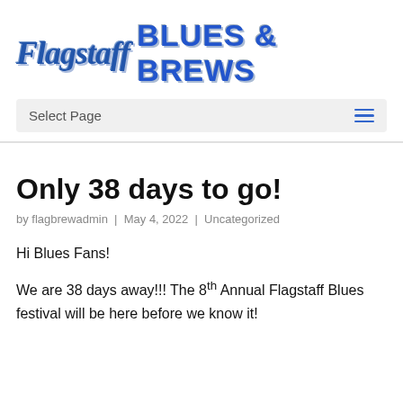Flagstaff BLUES & BREWS
Only 38 days to go!
by flagbrewadmin | May 4, 2022 | Uncategorized
Hi Blues Fans!
We are 38 days away!!! The 8th Annual Flagstaff Blues festival will be here before we know it!